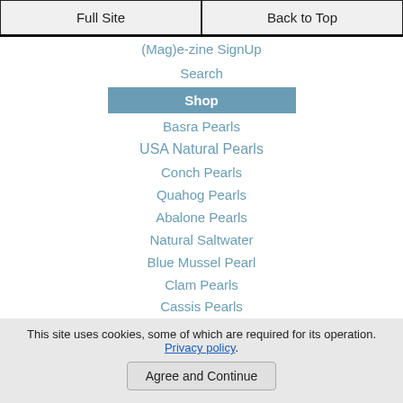Full Site
Back to Top
(Mag)e-zine SignUp
Search
Shop
Basra Pearls
USA Natural Pearls
Conch Pearls
Quahog Pearls
Abalone Pearls
Natural Saltwater
Blue Mussel Pearl
Clam Pearls
Cassis Pearls
Melo Pearls
This site uses cookies, some of which are required for its operation. Privacy policy.
Agree and Continue